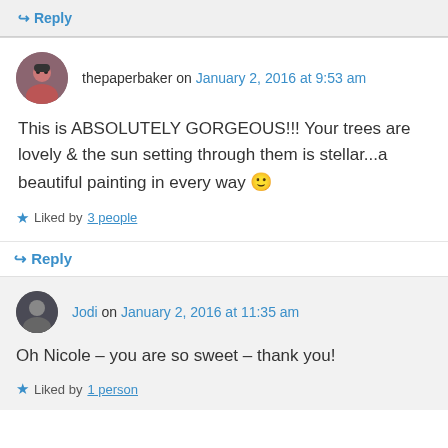↳ Reply
thepaperbaker on January 2, 2016 at 9:53 am
This is ABSOLUTELY GORGEOUS!!! Your trees are lovely & the sun setting through them is stellar...a beautiful painting in every way 🙂
★ Liked by 3 people
↳ Reply
Jodi on January 2, 2016 at 11:35 am
Oh Nicole – you are so sweet – thank you!
★ Liked by 1 person